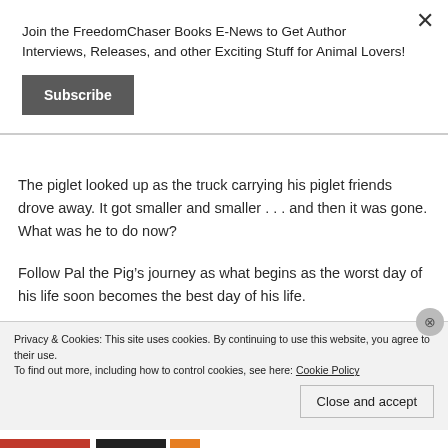Join the FreedomChaser Books E-News to Get Author Interviews, Releases, and other Exciting Stuff for Animal Lovers!
Subscribe
The piglet looked up as the truck carrying his piglet friends drove away. It got smaller and smaller . . . and then it was gone. What was he to do now?
Follow Pal the Pig’s journey as what begins as the worst day of his life soon becomes the best day of his life.
Privacy & Cookies: This site uses cookies. By continuing to use this website, you agree to their use.
To find out more, including how to control cookies, see here: Cookie Policy
Close and accept